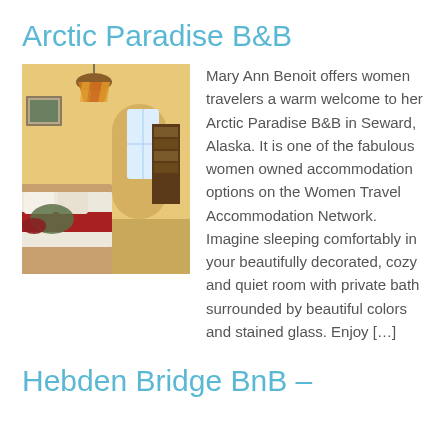Arctic Paradise B&B
[Figure (photo): Interior photo of a cozy bedroom with warm yellow walls, a bed with red runner, stained glass ceiling lamp, window with natural light, and bookshelf in background.]
Mary Ann Benoit offers women travelers a warm welcome to her Arctic Paradise B&B in Seward, Alaska. It is one of the fabulous women owned accommodation options on the Women Travel Accommodation Network. Imagine sleeping comfortably in your beautifully decorated, cozy and quiet room with private bath surrounded by beautiful colors and stained glass. Enjoy […]
Hebden Bridge BnB –